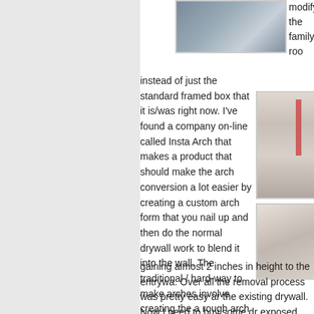[Figure (photo): Photo of doorway/entryway framing, partial view at top of page]
modify the family roo
instead of just the standard framed box that it is/was right now. I've found a company on-line called Insta Arch that makes a product that should make the arch conversion a lot easier by creating a custom arch form that you nail up and then do the normal drywall work to blend it into the wall. The traditional / hard-way to make arches involve creating the a rough arch frame into the entryway and then taking a strip of drywall that has been soaked in water to make it some what flexible which is nailed to the rough arch frame and hope the bending of the drywall does not snap it. After I removed the existing frame around the entryway today I found that I'll be gaining almost 2 inches in height to the entryway. Over all the removal process was pretty easy and the existing drywall. Now I need to buy some dry exposed wood and then I can take the final mea the arch conversion kit.
[Figure (photo): Photo of arch conversion work in progress, showing white arch form against wall with red stripe]
[Figure (photo): Photo of entryway/doorway area after frame removal]